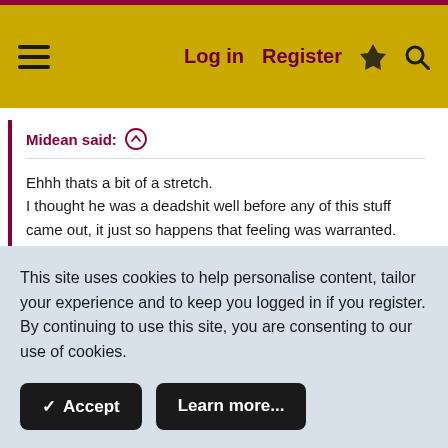Log in  Register
Midean said: ↑

Ehhh thats a bit of a stretch.
I thought he was a deadshit well before any of this stuff came out, it just so happens that feeling was warranted.

You can have an opinion on a person without "trying to get yourself involved in it".
I agree. Sometimes you just get a gut feeling about
This site uses cookies to help personalise content, tailor your experience and to keep you logged in if you register.
By continuing to use this site, you are consenting to our use of cookies.